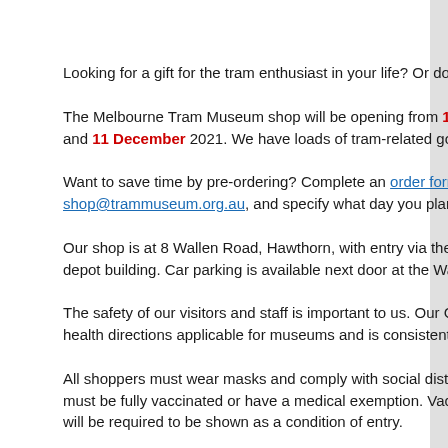Looking for a gift for the tram enthusiast in your life? Or do you just love tra...
The Melbourne Tram Museum shop will be opening from 10am to noon on 2... and 11 December 2021. We have loads of tram-related goodies for sal...
Want to save time by pre-ordering? Complete an order form and email i... shop@trammuseum.org.au, and specify what day you plan to collect yo...
Our shop is at 8 Wallen Road, Hawthorn, with entry via the door at the w... depot building. Car parking is available next door at the Wallen Road Re...
The safety of our visitors and staff is important to us. Our COVID Safe... health directions applicable for museums and is consistent with plans in ot...
All shoppers must wear masks and comply with social distancing rules. All... must be fully vaccinated or have a medical exemption. Vaccination certifica... will be required to be shown as a condition of entry.
Limits on the number of people in the shop apply at all times.